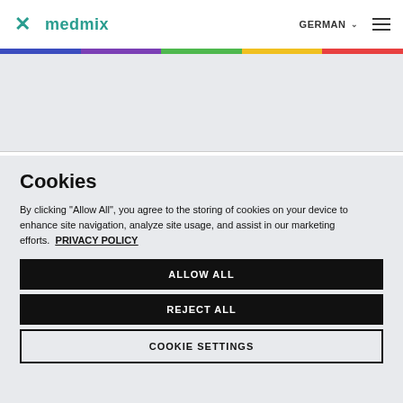medmix | GERMAN
Cookies
By clicking "Allow All", you agree to the storing of cookies on your device to enhance site navigation, analyze site usage, and assist in our marketing efforts. PRIVACY POLICY
ALLOW ALL
REJECT ALL
COOKIE SETTINGS